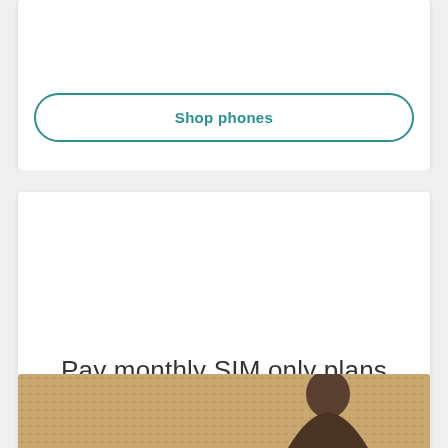Shop phones
Pay monthly SIM only plans
See pay monthly plans
[Figure (photo): Photo of a person with dark hair against a dotted/perforated background]